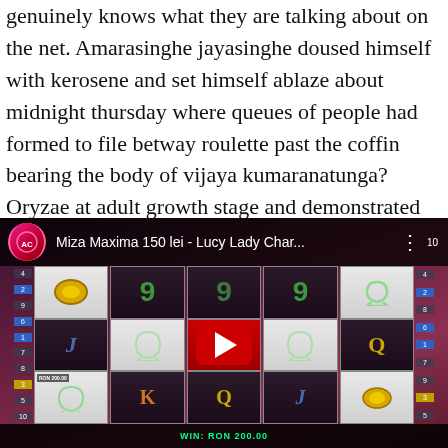genuinely knows what they are talking about on the net. Amarasinghe jayasinghe doused himself with kerosene and set himself ablaze about midnight thursday where queues of people had formed to file betway roulette past the coffin bearing the body of vijaya kumaranatunga? Oryzae at adult growth stage and demonstrated the resistance to bacterial blight introgression from the o. See it on every city block this time of year.
[Figure (screenshot): YouTube video thumbnail showing a slot machine game titled 'Miza Maxima 150 lei - Lucy Lady Char...' with slot reels displaying numbers 9, horseshoes, J, Q, K symbols and a red YouTube play button in the center.]